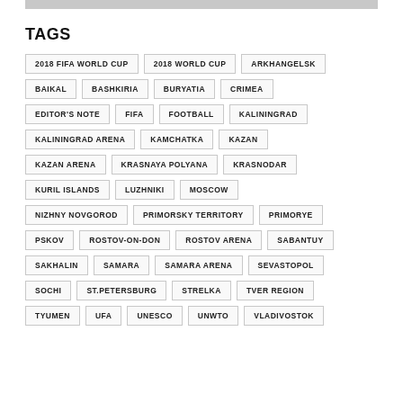[Figure (other): Gray bar image at top of page]
TAGS
2018 FIFA WORLD CUP
2018 WORLD CUP
ARKHANGELSK
BAIKAL
BASHKIRIA
BURYATIA
CRIMEA
EDITOR'S NOTE
FIFA
FOOTBALL
KALININGRAD
KALININGRAD ARENA
KAMCHATKA
KAZAN
KAZAN ARENA
KRASNAYA POLYANA
KRASNODAR
KURIL ISLANDS
LUZHNIKI
MOSCOW
NIZHNY NOVGOROD
PRIMORSKY TERRITORY
PRIMORYE
PSKOV
ROSTOV-ON-DON
ROSTOV ARENA
SABANTUY
SAKHALIN
SAMARA
SAMARA ARENA
SEVASTOPOL
SOCHI
ST.PETERSBURG
STRELKA
TVER REGION
TYUMEN
UFA
UNESCO
UNWTO
VLADIVOSTOK